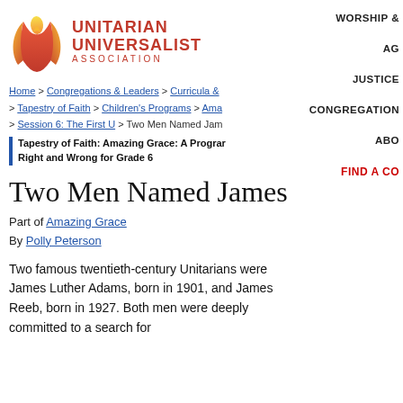[Figure (logo): Unitarian Universalist Association logo with flame icon and organization name]
WORSHIP &
AG
JUSTICE
CONGREGATION
ABO
FIND A CO
Home > Congregations & Leaders > Curricula & > Tapestry of Faith > Children's Programs > Ama > Session 6: The First U > Two Men Named Jam
Tapestry of Faith: Amazing Grace: A Program Right and Wrong for Grade 6
Two Men Named James
Part of Amazing Grace
By Polly Peterson
Two famous twentieth-century Unitarians were James Luther Adams, born in 1901, and James Reeb, born in 1927. Both men were deeply committed to a search for